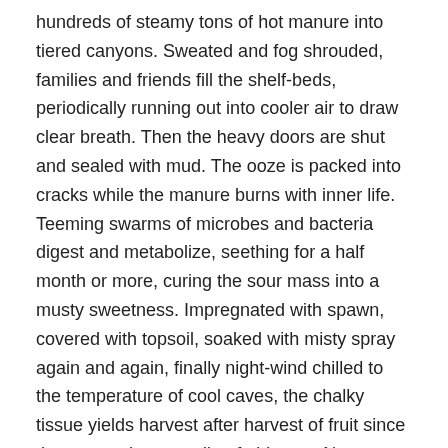hundreds of steamy tons of hot manure into tiered canyons. Sweated and fog shrouded, families and friends fill the shelf-beds, periodically running out into cooler air to draw clear breath. Then the heavy doors are shut and sealed with mud. The ooze is packed into cracks while the manure burns with inner life. Teeming swarms of microbes and bacteria digest and metabolize, seething for a half month or more, curing the sour mass into a musty sweetness. Impregnated with spawn, covered with topsoil, soaked with misty spray again and again, finally night-wind chilled to the temperature of cool caves, the chalky tissue yields harvest after harvest of fruit since the spawn does not die of old age…Not magically, fifty lean workingyears later the mushroom farms sprout Francesco & Maria, Inc., core stockholders of a group of local growers canning and distributing more than two million pounds of mushrooms